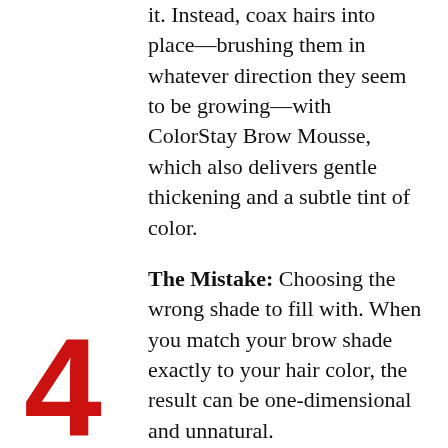it. Instead, coax hairs into place—brushing them in whatever direction they seem to be growing—with ColorStay Brow Mousse, which also delivers gentle thickening and a subtle tint of color.
The Mistake: Choosing the wrong shade to fill with. When you match your brow shade exactly to your hair color, the result can be one-dimensional and unnatural. The Fix: If you're brunette, select an eyebrow filler that's one shade lighter than your hair color to avoid brows that look too solid and contrast too dramatically with
4